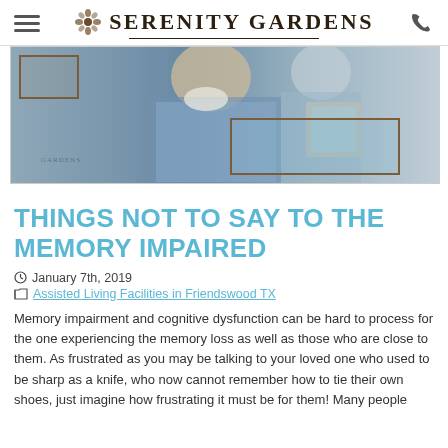Serenity Gardens
[Figure (photo): An elderly man with white beard looking at a framed photo, being assisted by a caregiver. A watermark reading 'Gardens' is visible in the lower left of the image.]
THINGS NOT TO SAY TO THE MEMORY IMPAIRED
January 7th, 2019
Assisted Living Facilities in Friendswood TX
Memory impairment and cognitive dysfunction can be hard to process for the one experiencing the memory loss as well as those who are close to them. As frustrated as you may be talking to your loved one who used to be sharp as a knife, who now cannot remember how to tie their own shoes, just imagine how frustrating it must be for them! Many people